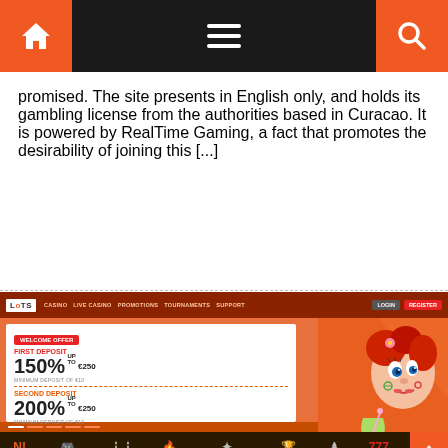Navigation bar with home icon, hamburger menu, and search icon
promised. The site presents in English only, and holds its gambling license from the authorities based in Curacao. It is powered by RealTime Gaming, a fact that promotes the desirability of joining this [...]
[Figure (screenshot): Screenshot of the HotSlots casino website showing the welcome offer: First Deposit 150% up to €250 minimum deposit of €10, Second Deposit 200% up to €250 minimum deposit of €10. Join HotSlots promo section with gift box graphic and Register button. Navigation bar at bottom with NEW, OPERATOR, ALL GAMES, HOT, RT DAILY JACKPOTS, JACKPOTS, TABLE, SLOTS, SEARCH options.]